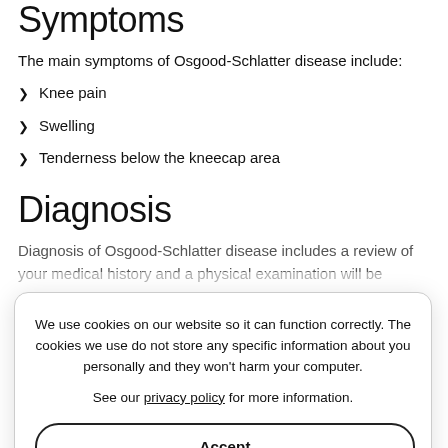Symptoms
The main symptoms of Osgood-Schlatter disease include:
Knee pain
Swelling
Tenderness below the kneecap area
Diagnosis
Diagnosis of Osgood-Schlatter disease includes a review of your medical history and a physical examination will be performed by your doctor to check the affected knee for pain, swelling, and inflammation. X-ray or MRI scans may also be ordered to look at the bones of the knee and examine the tendon and tibia more closely.
We use cookies on our website so it can function correctly. The cookies we use do not store any specific information about you personally and they won't harm your computer.
See our privacy policy for more information.
Accept